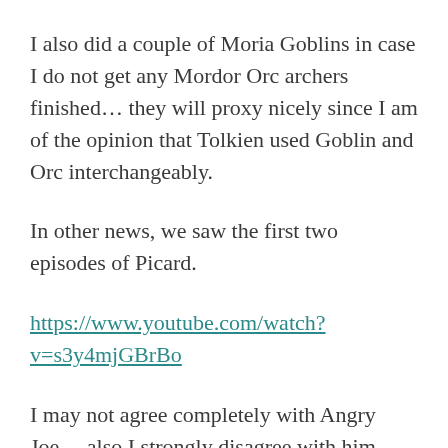I also did a couple of Moria Goblins in case I do not get any Mordor Orc archers finished… they will proxy nicely since I am of the opinion that Tolkien used Goblin and Orc interchangeably.
In other news, we saw the first two episodes of Picard.
https://www.youtube.com/watch?v=s3y4mjGBrBo
I may not agree completely with Angry Joe… also I strongly disagree with him about the first two episodes of Star Trek Discovery… but I agree with